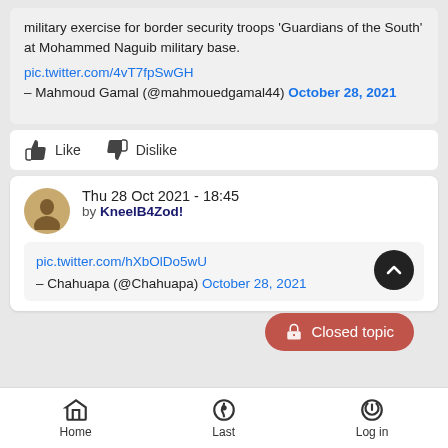military exercise for border security troops 'Guardians of the South' at Mohammed Naguib military base. pic.twitter.com/4vT7fpSwGH — Mahmoud Gamal (@mahmouedgamal44) October 28, 2021
Like  Dislike
Thu 28 Oct 2021 - 18:45 by KneelB4Zod!
pic.twitter.com/hXbOlDo5wU — Chahuapa (@Chahuapa) October 28, 2021
Home  Last  Log in